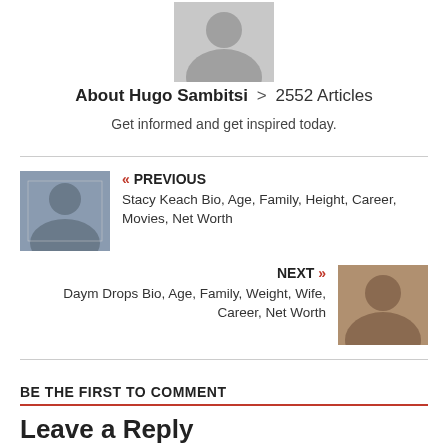[Figure (illustration): Gray placeholder avatar silhouette image at top center]
About Hugo Sambitsi > 2552 Articles
Get informed and get inspired today.
[Figure (photo): Thumbnail photo of Stacy Keach - man with hat]
« PREVIOUS
Stacy Keach Bio, Age, Family, Height, Career, Movies, Net Worth
NEXT »
Daym Drops Bio, Age, Family, Weight, Wife, Career, Net Worth
[Figure (photo): Thumbnail photo of Daym Drops - man smiling]
BE THE FIRST TO COMMENT
Leave a Reply